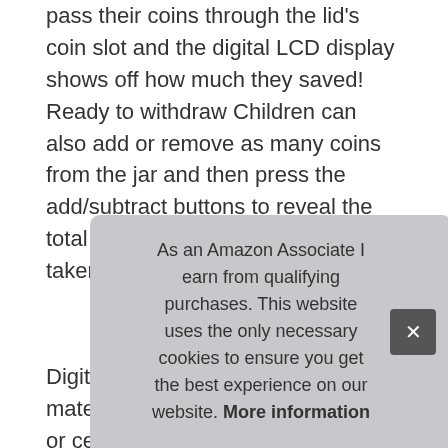pass their coins through the lid's coin slot and the digital LCD display shows off how much they saved! Ready to withdraw Children can also add or remove as many coins from the jar and then press the add/subtract buttons to reveal the total amount of change placed in or taken out.
More information #ad
Digital counting coin bank, abs material, harder to break than glass or ceramic money boxes. Clear lcd screen helps count your coins, accurate displaying the total for every deposit.
Powered by 2AAA battery not included. Fun way to save money... pockets... PLEASE... DIFFERENT... storage 800-1000 coins. Accepts all us coins including:
As an Amazon Associate I earn from qualifying purchases. This website uses the only necessary cookies to ensure you get the best experience on our website. More information